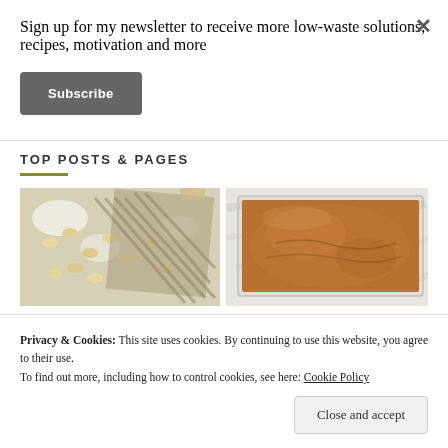Sign up for my newsletter to receive more low-waste solutions, recipes, motivation and more
Subscribe
TOP POSTS & PAGES
[Figure (photo): Overhead view of gnocchi dumplings being made on a floured surface with a gnocchi board]
[Figure (photo): Overhead view of brown sauce or spread in a glass container on a marble surface]
Privacy & Cookies: This site uses cookies. By continuing to use this website, you agree to their use.
To find out more, including how to control cookies, see here: Cookie Policy
Close and accept